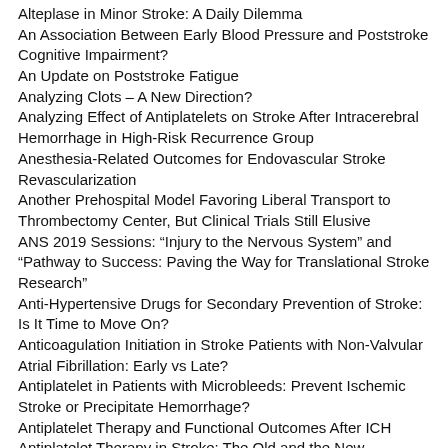Alteplase in Minor Stroke: A Daily Dilemma
An Association Between Early Blood Pressure and Poststroke Cognitive Impairment?
An Update on Poststroke Fatigue
Analyzing Clots – A New Direction?
Analyzing Effect of Antiplatelets on Stroke After Intracerebral Hemorrhage in High-Risk Recurrence Group
Anesthesia-Related Outcomes for Endovascular Stroke Revascularization
Another Prehospital Model Favoring Liberal Transport to Thrombectomy Center, But Clinical Trials Still Elusive
ANS 2019 Sessions: “Injury to the Nervous System” and “Pathway to Success: Paving the Way for Translational Stroke Research”
Anti-Hypertensive Drugs for Secondary Prevention of Stroke: Is It Time to Move On?
Anticoagulation Initiation in Stroke Patients with Non-Valvular Atrial Fibrillation: Early vs Late?
Antiplatelet in Patients with Microbleeds: Prevent Ischemic Stroke or Precipitate Hemorrhage?
Antiplatelet Therapy and Functional Outcomes After ICH
Antiplatelet Therapy in Stroke: The Old and the New
Antiplatelets for Transient Ischemic Attack and Minor Stroke: This is the Way Forward
Antiseizure Drug Prophylaxis in Acute Ischemic Stroke